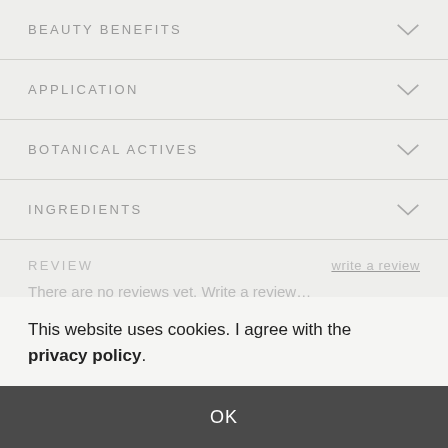BEAUTY BENEFITS
APPLICATION
BOTANICAL ACTIVES
INGREDIENTS
REVIEW
write a review
There are no reviews yet. Write a review…
This website uses cookies. I agree with the privacy policy.
OK